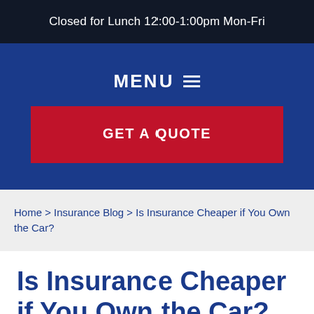Closed for Lunch 12:00-1:00pm Mon-Fri
MENU ☰
GET A QUOTE
Home > Insurance Blog > Is Insurance Cheaper if You Own the Car?
Is Insurance Cheaper if You Own the Car?